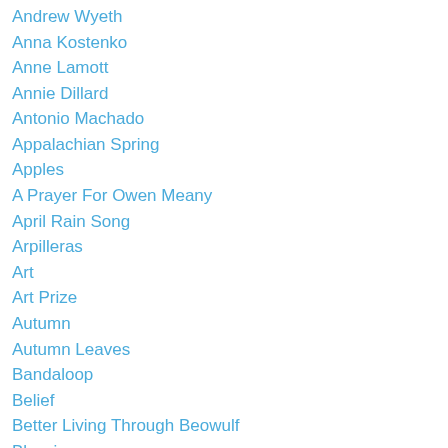Andrew Wyeth
Anna Kostenko
Anne Lamott
Annie Dillard
Antonio Machado
Appalachian Spring
Apples
A Prayer For Owen Meany
April Rain Song
Arpilleras
Art
Art Prize
Autumn
Autumn Leaves
Bandaloop
Belief
Better Living Through Beowulf
Blessing
Book Of Common Prayer
Books
Brain